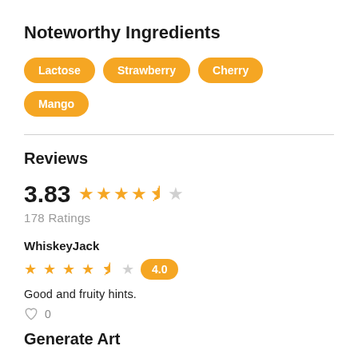Noteworthy Ingredients
Lactose
Strawberry
Cherry
Mango
Reviews
3.83 ★★★★½  178 Ratings
WhiskeyJack
★★★★½  4.0
Good and fruity hints.
♡ 0
Generate Art